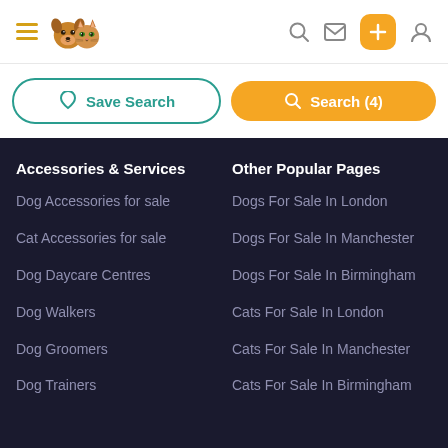[Figure (logo): Pet classifieds website header with hamburger menu, dog-and-cat logo, and icons for search, mail, add (+), and user profile]
Save Search
Search (4)
Accessories & Services
Other Popular Pages
Dog Accessories for sale
Cat Accessories for sale
Dog Daycare Centres
Dog Walkers
Dog Groomers
Dog Trainers
Dogs For Sale In London
Dogs For Sale In Manchester
Dogs For Sale In Birmingham
Cats For Sale In London
Cats For Sale In Manchester
Cats For Sale In Birmingham